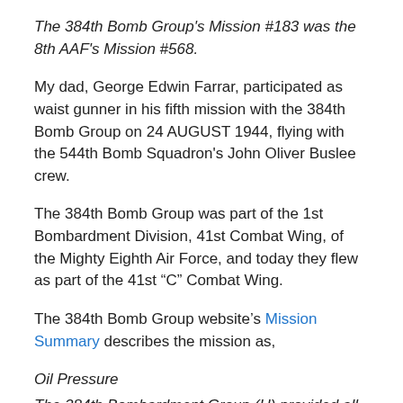The 384th Bomb Group's Mission #183 was the 8th AAF's Mission #568.
My dad, George Edwin Farrar, participated as waist gunner in his fifth mission with the 384th Bomb Group on 24 AUGUST 1944, flying with the 544th Bomb Squadron's John Oliver Buslee crew.
The 384th Bomb Group was part of the 1st Bombardment Division, 41st Combat Wing, of the Mighty Eighth Air Force, and today they flew as part of the 41st “C” Combat Wing.
The 384th Bomb Group website’s Mission Summary describes the mission as,
Oil Pressure
The 384th Bombardment Group (H) provided all three